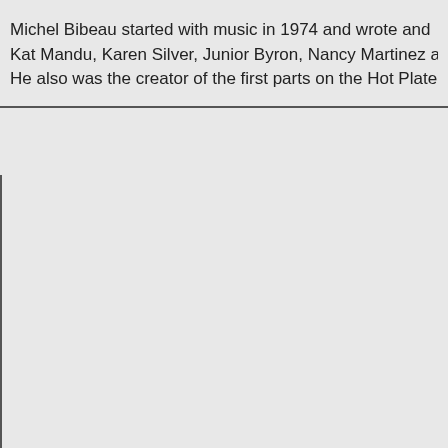Michel Bibeau started with music in 1974 and wrote and Kat Mandu, Karen Silver, Junior Byron, Nancy Martinez a He also was the creator of the first parts on the Hot Plate